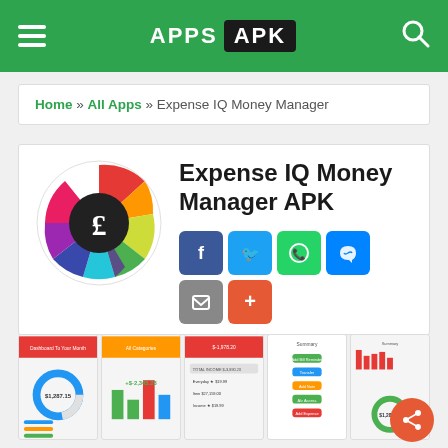APPS APK
Home » All Apps » Expense IQ Money Manager
Expense IQ Money Manager APK
[Figure (logo): Expense IQ Money Manager app icon — colorful pie/donut chart with pound sign in center]
[Figure (screenshot): Five app screenshot thumbnails showing the Expense IQ Money Manager app UI]